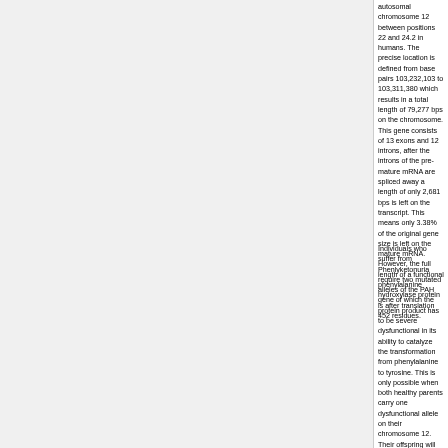autosomal chromosome 12 between positions 22 and 24.2 in humans. The precise location is defined from base pairs 103,232,103 to 103,311,380 which results in a total length of 79,277 bps on the chromosome. This gene consists of 13 exons and 12 introns, after the introns of the pre-mature mRNA are spliced away a length of only 2,681 bps is left on the transcript. This means only 3.38% of the original gene size is left on the mature mRNA. However, the full length of a functional phenylalanine hydroxylase protein is after translation 452 residues.
Individuals who suffer from Phenlyketonuria require two mutated alleles of the PAH gene of which the protein product has to be severe dysfunctional in its ability to catalyze the transformation from phenylalanine to tyrosine. This is only possible when both healthy parents carry one dysfunctional allele on their chromosome 12. Their offspring will then have a 25% chance to be affected by phenylketonuria because these individuals